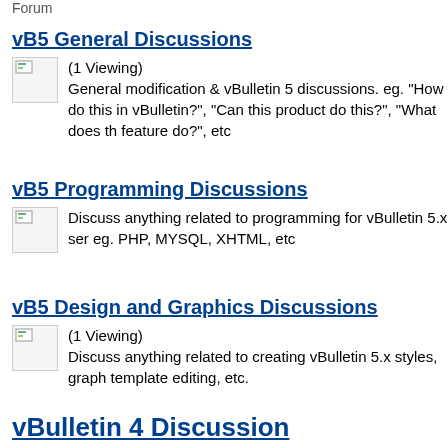Forum
vB5 General Discussions
(1 Viewing)
General modification & vBulletin 5 discussions. eg. "How do this in vBulletin?", "Can this product do this?", "What does th feature do?", etc
vB5 Programming Discussions
Discuss anything related to programming for vBulletin 5.x ser eg. PHP, MYSQL, XHTML, etc
vB5 Design and Graphics Discussions
(1 Viewing)
Discuss anything related to creating vBulletin 5.x styles, graph template editing, etc.
vBulletin 4 Discussion